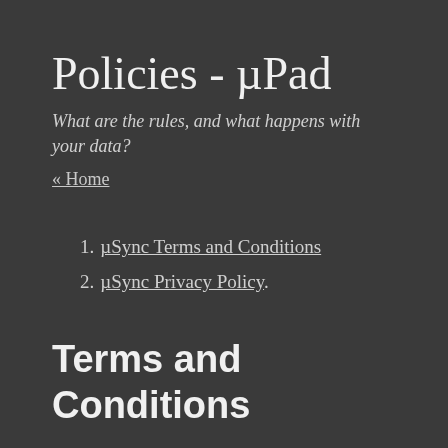Policies - µPad
What are the rules, and what happens with your data?
« Home
µSync Terms and Conditions
µSync Privacy Policy
Terms and Conditions
For information about how your privacy is protected view our Privacy Policy.
By accessing and using this service, you accept and